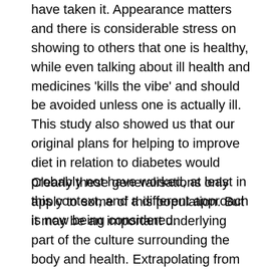have taken it. Appearance matters and there is considerable stress on showing to others that one is healthy, while even talking about ill health and medicines 'kills the vibe' and should be avoided unless one is actually ill. This study also showed us that our original plans for helping to improve diet in relation to diabetes would probably not have worked, at least in this context, and a different approach is now being considered.
Clearly these generalisations only apply to some of this population. But it may be an important underlying part of the culture surrounding the body and health. Extrapolating from this conclusion, it would seem that research based simply on asking people for their reasons for not taking the Covid vaccination, or worse still projecting upon them one's assumptions, are not likely to be helpful. A more anthropological insistence on